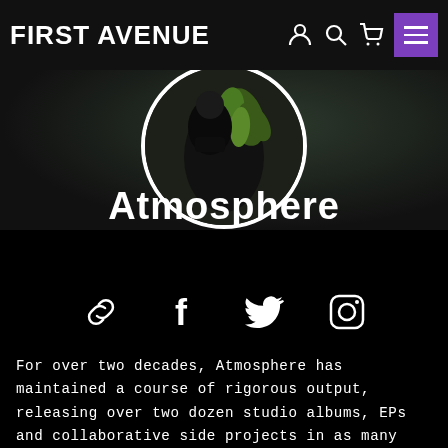FIRST AVENUE
[Figure (photo): Circular cropped photo of the hip-hop duo Atmosphere against a dark background with a green plant/flower element visible]
Atmosphere
[Figure (infographic): Row of social media icons: link/chain icon, Facebook icon, Twitter icon, Instagram icon]
For over two decades, Atmosphere has maintained a course of rigorous output, releasing over two dozen studio albums, EPs and collaborative side projects in as many years. In that time, the venerated duo has